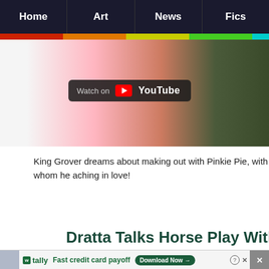Home | Art | News | Fics
[Figure (screenshot): Video thumbnail showing a pink pony (Pinkie Pie) with a 'Watch on YouTube' overlay badge, partially cropped]
King Grover dreams about making out with Pinkie Pie, with whom he aching in love!
Dratta Talks Horse Play With Colorad
[Figure (other): Advertisement: Tally - Fast credit card payoff, with Download Now button]